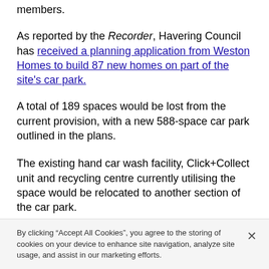members.
As reported by the Recorder, Havering Council has received a planning application from Weston Homes to build 87 new homes on part of the site's car park.
A total of 189 spaces would be lost from the current provision, with a new 588-space car park outlined in the plans.
The existing hand car wash facility, Click+Collect unit and recycling centre currently utilising the space would be relocated to another section of the car park.
A decision on the application is expected by September 22.
By clicking “Accept All Cookies”, you agree to the storing of cookies on your device to enhance site navigation, analyze site usage, and assist in our marketing efforts.